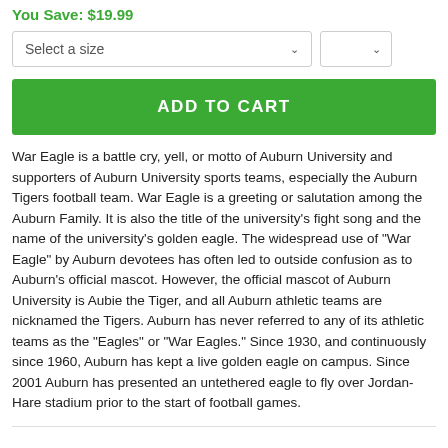You Save: $19.99
[Figure (screenshot): Two dropdown select boxes: 'Select a size' (wide) and a smaller unlabeled dropdown]
ADD TO CART
War Eagle is a battle cry, yell, or motto of Auburn University and supporters of Auburn University sports teams, especially the Auburn Tigers football team. War Eagle is a greeting or salutation among the Auburn Family. It is also the title of the university's fight song and the name of the university's golden eagle. The widespread use of "War Eagle" by Auburn devotees has often led to outside confusion as to Auburn's official mascot. However, the official mascot of Auburn University is Aubie the Tiger, and all Auburn athletic teams are nicknamed the Tigers. Auburn has never referred to any of its athletic teams as the "Eagles" or "War Eagles." Since 1930, and continuously since 1960, Auburn has kept a live golden eagle on campus. Since 2001 Auburn has presented an untethered eagle to fly over Jordan-Hare stadium prior to the start of football games.